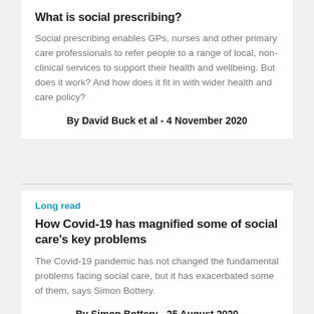What is social prescribing?
Social prescribing enables GPs, nurses and other primary care professionals to refer people to a range of local, non-clinical services to support their health and wellbeing. But does it work? And how does it fit in with wider health and care policy?
By David Buck et al - 4 November 2020
Long read
How Covid-19 has magnified some of social care's key problems
The Covid-19 pandemic has not changed the fundamental problems facing social care, but it has exacerbated some of them, says Simon Bottery.
By Simon Bottery - 25 August 2020
33 minute read